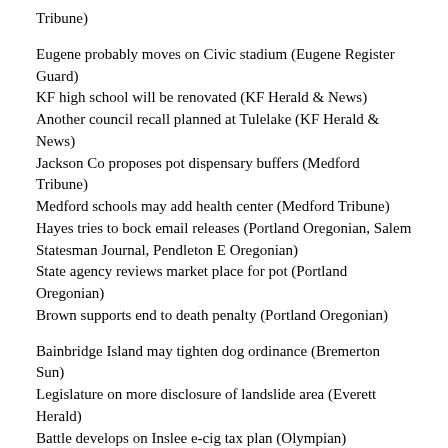Tribune)
Eugene probably moves on Civic stadium (Eugene Register Guard)
KF high school will be renovated (KF Herald & News)
Another council recall planned at Tulelake (KF Herald & News)
Jackson Co proposes pot dispensary buffers (Medford Tribune)
Medford schools may add health center (Medford Tribune)
Hayes tries to bock email releases (Portland Oregonian, Salem Statesman Journal, Pendleton E Oregonian)
State agency reviews market place for pot (Portland Oregonian)
Brown supports end to death penalty (Portland Oregonian)
Bainbridge Island may tighten dog ordinance (Bremerton Sun)
Legislature on more disclosure of landslide area (Everett Herald)
Battle develops on Inslee e-cig tax plan (Olympian)
Health exchange consumer to be refunded for overbills (Olympian, Port Angeles News)
Will legalization end pot black market? (Seattle Times)
Possible increase in I-90 speed limit (Spokane Spokesman)
Senator Benton charges many mileage bills (Vancuver Columbian)
What's ahead for medical, recreational pot merge (Vancouver Columbian)